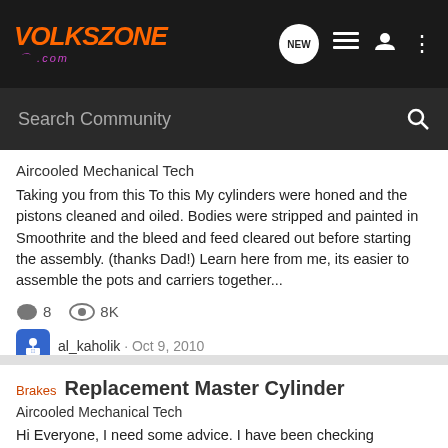VOLKSZONE .com — navigation bar with search
Aircooled Mechanical Tech
Taking you from this To this My cylinders were honed and the pistons cleaned and oiled. Bodies were stripped and painted in Smoothrite and the bleed and feed cleared out before starting the assembly. (thanks Dad!) Learn here from me, its easier to assemble the pots and carriers together...
8 comments · 8K views
al_kaholik · Oct 9, 2010
master cylinder | porsche 944 brakes | single pot | volvo
Brakes — Replacement Master Cylinder
Aircooled Mechanical Tech
Hi Everyone, I need some advice. I have been checking